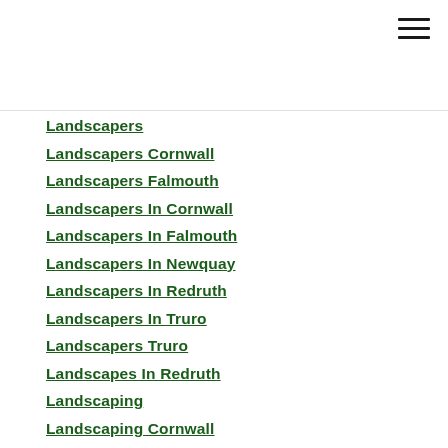Landscapers
Landscapers Cornwall
Landscapers Falmouth
Landscapers In Cornwall
Landscapers In Falmouth
Landscapers In Newquay
Landscapers In Redruth
Landscapers In Truro
Landscapers Truro
Landscapes In Redruth
Landscaping
Landscaping Cornwall
Landscaping Falmouth
Landscaping Newquay
Landscaping Redruth
Landscaping Truro